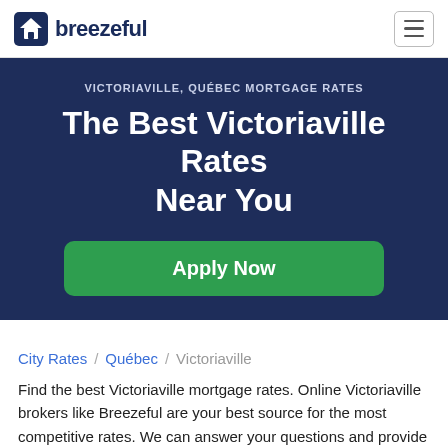breezeful
VICTORIAVILLE, QUÉBEC MORTGAGE RATES
The Best Victoriaville Rates Near You
Apply Now
City Rates / Québec / Victoriaville
Find the best Victoriaville mortgage rates. Online Victoriaville brokers like Breezeful are your best source for the most competitive rates. We can answer your questions and provide you with an overview of the rates and options